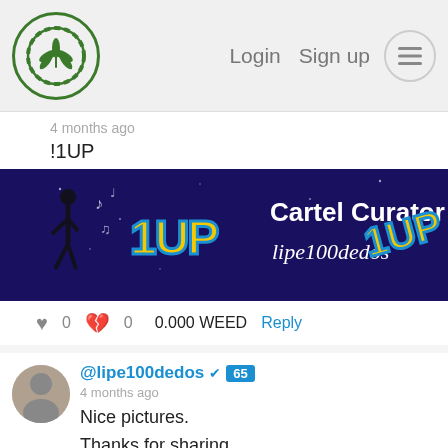Login  Sign up
4 months ago
!1UP
[Figure (illustration): Cartel Curator 1UP banner for lipe100dedos, dark purple/blue background with dancing silhouette and graffiti-style 1UP logos]
0  0  0.000 WEED  Reply
@lipe100dedos ✔ 65
4 months ago
Nice pictures.
Thanks for sharing.
!1UP
[Figure (illustration): Cartel Curator 1UP banner for lipe100dedos, dark purple/blue background with dancing silhouette and graffiti-style 1UP logos, with teal scroll-to-top button]
1  0  0.204 WEED  Reply